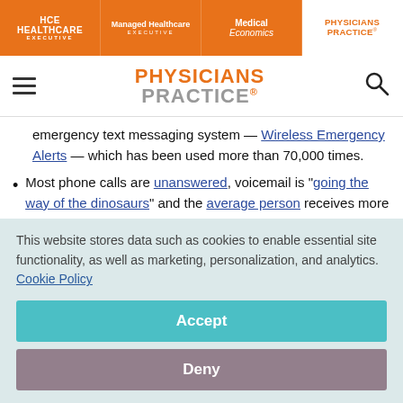HCE Healthcare Executive | Managed Healthcare Executive | Medical Economics | Physicians Practice
PHYSICIANS PRACTICE
emergency text messaging system — Wireless Emergency Alerts — which has been used more than 70,000 times.
Most phone calls are unanswered, voicemail is "going the way of the dinosaurs" and the average person receives more than 100 emails per day, with many going
This website stores data such as cookies to enable essential site functionality, as well as marketing, personalization, and analytics. Cookie Policy
Accept
Deny